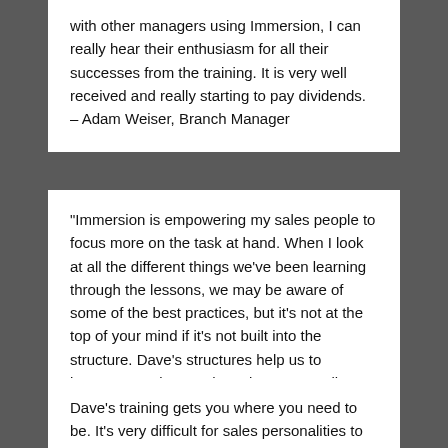with other managers using Immersion, I can really hear their enthusiasm for all their successes from the training. It is very well received and really starting to pay dividends. – Adam Weiser, Branch Manager
"Immersion is empowering my sales people to focus more on the task at hand. When I look at all the different things we've been learning through the lessons, we may be aware of some of the best practices, but it's not at the top of your mind if it's not built into the structure. Dave's structures help us to become consistent. The sales team really feels equipped..." – Steve Coffman, Sales Manager, Modern Builder's Supply
Dave's training gets you where you need to be. It's very difficult for sales personalities to change their focus – but the way